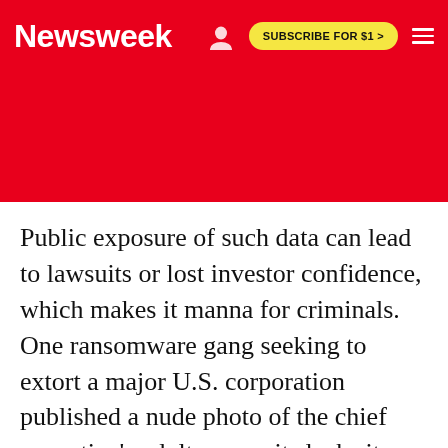Newsweek | SUBSCRIBE FOR $1 >
Public exposure of such data can lead to lawsuits or lost investor confidence, which makes it manna for criminals. One ransomware gang seeking to extort a major U.S. corporation published a nude photo of the chief executive's adult son on its leak site last